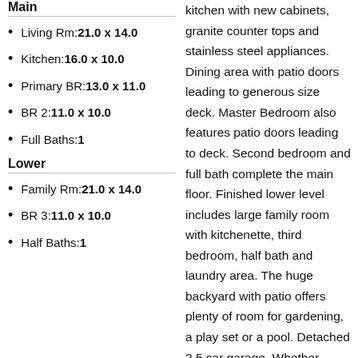Main
Living Rm: 21.0 x 14.0
Kitchen: 16.0 x 10.0
Primary BR: 13.0 x 11.0
BR 2: 11.0 x 10.0
Full Baths: 1
Lower
Family Rm: 21.0 x 14.0
BR 3: 11.0 x 10.0
Half Baths: 1
kitchen with new cabinets, granite counter tops and stainless steel appliances. Dining area with patio doors leading to generous size deck. Master Bedroom also features patio doors leading to deck. Second bedroom and full bath complete the main floor. Finished lower level includes large family room with kitchenette, third bedroom, half bath and laundry area. The huge backyard with patio offers plenty of room for gardening, a play set or a pool. Detached 2.5 car garage. Whether you're a first time home buyer, empty nester or